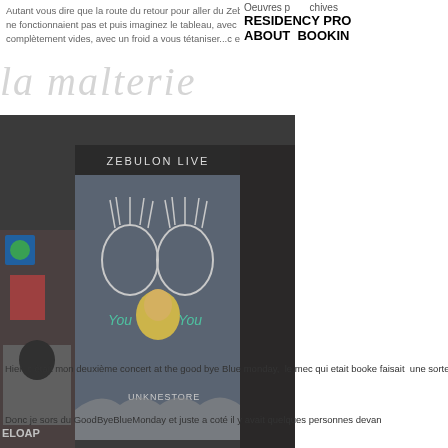Autant vous dire que  la route du retour pour aller du Zebulon a l'appartement ou je loge, de metro ne fonctionnaient pas et puis imaginez le tableau, avec ma valise, les rues de Brooklyn complètement vides, avec un froid a vous tétaniser...c etais pas simple je vous port!
la malterie   Oeuvres p  chives  RESIDENCY PRO  ABOUT  BOOKIN
[Figure (photo): Photograph of the exterior of Zebulon Live venue in Brooklyn, showing a chalkboard-style mural door with drawn figures and text 'You You' and 'UNKNESTORE', surrounded by stickers and street art posters.]
Hier, c était mon deuxième concert at the good bye Blue monday,  le mec qui etait booke faisait  une sorte de larsen continu ultra aigu  qui m a tué les tympans, j'ai donc vite décid
Donc je sors du GoodByeBlueMonday et juste a coté il y avait quelques personnes devan